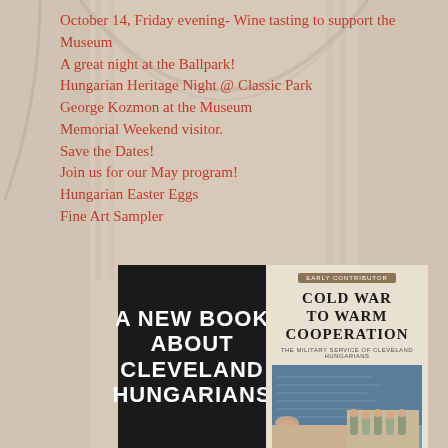October 14, Friday evening- Wine tasting to support the Museum
A great night at the Ballpark!
Hungarian Heritage Night @ Classic Park
George Kozmon at the Museum
Memorial Weekend visitor.
Save the Dates!
Join us for our May program!
Hungarian Easter Eggs
Fine Art Sampler
[Figure (illustration): Two books side by side. Left book has dark background with white bold text 'A NEW BOOK ABOUT CLEVELAND HUNGARIANS'. Right book shows 'COLD WAR TO WARM COOPERATION' with subtitle 'THE MILITARY SERVICE OF CLEVELAND HUNGARIANS' and a photo collage below.]